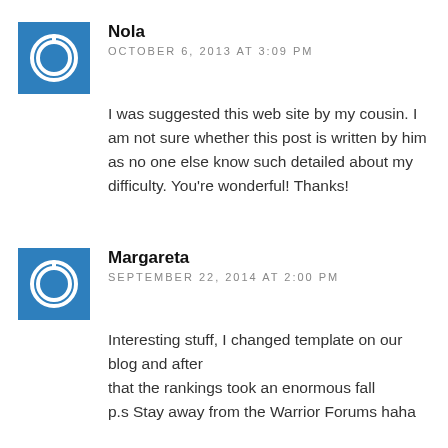Nola
OCTOBER 6, 2013 AT 3:09 PM
I was suggested this web site by my cousin. I am not sure whether this post is written by him as no one else know such detailed about my difficulty. You're wonderful! Thanks!
Margareta
SEPTEMBER 22, 2014 AT 2:00 PM
Interesting stuff, I changed template on our blog and after that the rankings took an enormous fall p.s Stay away from the Warrior Forums haha